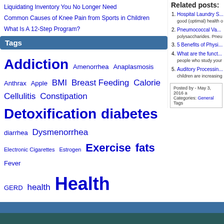Liquidating Inventory You No Longer Need
Common Causes of Knee Pain from Sports in Children
What Is A 12-Step Program?
Tags
Addiction Amenorrhea Anaplasmosis Anthrax Apple BMI Breast Feeding Calorie Cellulitis Constipation Detoxification diabetes diarrhea Dysmenorrhea Electronic Cigarettes Estrogen Exercise fats Fever GERD health Health Benefits Healthcare Hypertension Indigestion Menopause Nail Fungus Infection Niacin Nutrition Phentermine preeclampsia Pregnancy Riboflavin STD Tea Thiamin Treatment Urethritis Vaccine Vitamin vitamin A vitamin B1 Vitamin D Vitamin E Weight Loss
Related posts:
Hospital Laundry S... good (optimal) health o
Pneumococcal Va... polysaccharides. Pneu
5 Benefits of Physi...
What are the funct... people who study your
Auditory Processin... children are increasing
Posted by - May 3, 2016 a
Categories: General  Tags